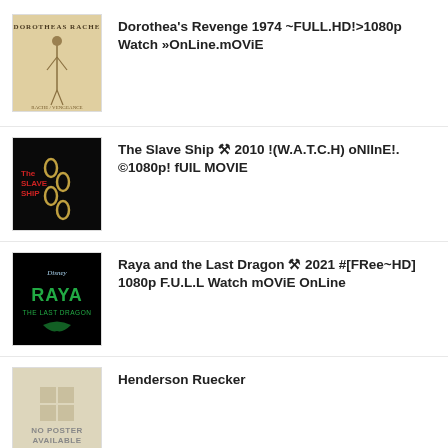Dorothea's Revenge 1974 ~FULL.HD!>1080p Watch »OnLine.mOViE
The Slave Ship ⚒ 2010 !(W.A.T.C.H) oNlInE!.©1080p! fUIL MOVIE
Raya and the Last Dragon ⚒ 2021 #[FRee~HD] 1080p F.U.L.L Watch mOViE OnLine
Henderson Ruecker